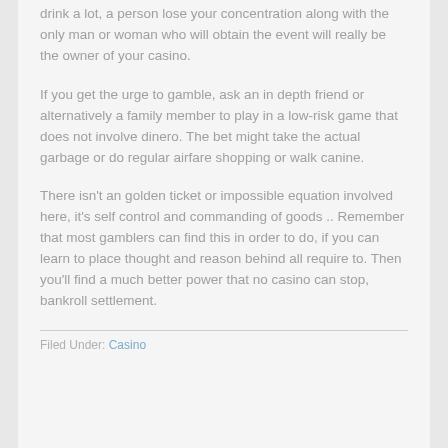drink a lot, a person lose your concentration along with the only man or woman who will obtain the event will really be the owner of your casino.
If you get the urge to gamble, ask an in depth friend or alternatively a family member to play in a low-risk game that does not involve dinero. The bet might take the actual garbage or do regular airfare shopping or walk canine.
There isn't an golden ticket or impossible equation involved here, it's self control and commanding of goods .. Remember that most gamblers can find this in order to do, if you can learn to place thought and reason behind all require to. Then you'll find a much better power that no casino can stop, bankroll settlement.
Filed Under: Casino